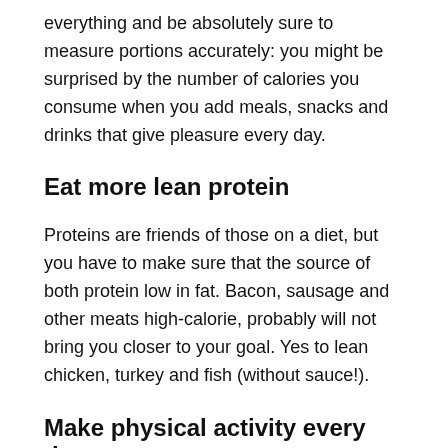everything and be absolutely sure to measure portions accurately: you might be surprised by the number of calories you consume when you add meals, snacks and drinks that give pleasure every day.
Eat more lean protein
Proteins are friends of those on a diet, but you have to make sure that the source of both protein low in fat. Bacon, sausage and other meats high-calorie, probably will not bring you closer to your goal. Yes to lean chicken, turkey and fish (without sauce!).
Make physical activity every day
Yes, you read that right, every day. But each session should not be a killer workout: You can create a program that includes exercise high intensity workouts and recovery days